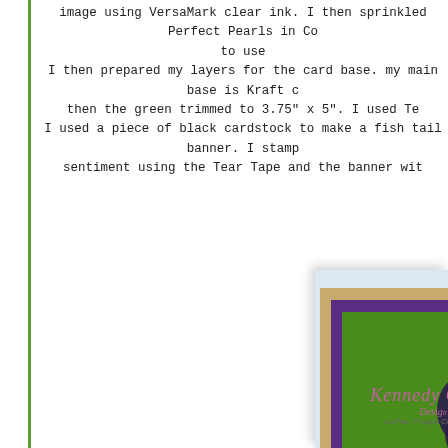image using VersaMark clear ink. I then sprinkled Perfect Pearls in Co... to use I then prepared my layers for the card base. my main base is Kraft c... then the green trimmed to 3.75" x 5". I used Te... I used a piece of black cardstock to make a fish tail banner. I stamp... sentiment using the Tear Tape and the banner wit...
[Figure (photo): A handmade greeting card with kraft paper base, purple layer, green layer, and a dark purple/black floral embossed design on the right side. A watermark reads 'Kennedy Grace' and 'LorPee - Project Coordinator' at the bottom.]